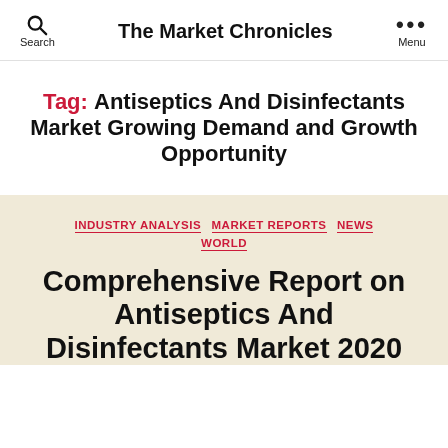The Market Chronicles
Tag: Antiseptics And Disinfectants Market Growing Demand and Growth Opportunity
INDUSTRY ANALYSIS  MARKET REPORTS  NEWS  WORLD
Comprehensive Report on Antiseptics And Disinfectants Market 2020